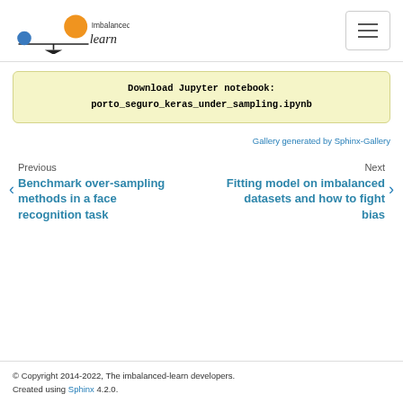imbalanced-learn logo and navigation
Download Jupyter notebook:
porto_seguro_keras_under_sampling.ipynb
Gallery generated by Sphinx-Gallery
Previous
Benchmark over-sampling methods in a face recognition task
Next
Fitting model on imbalanced datasets and how to fight bias
© Copyright 2014-2022, The imbalanced-learn developers.
Created using Sphinx 4.2.0.